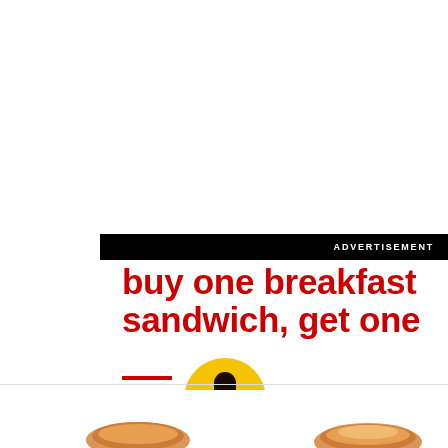ADVERTISEMENT
buy one breakfast sandwich, get one ___
[Figure (illustration): Yellow circle microphone button icon]
Tap here to allow microphone access to voice command